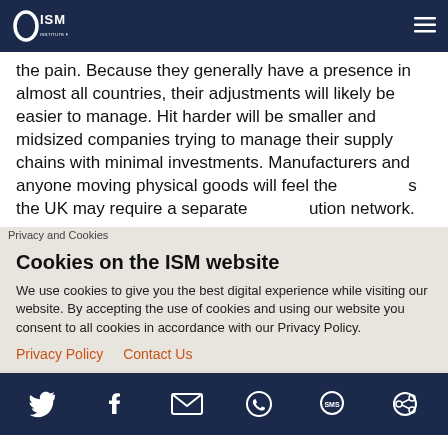ISM - Institute for Supply Management
the pain. Because they generally have a presence in almost all countries, their adjustments will likely be easier to manage. Hit harder will be smaller and midsized companies trying to manage their supply chains with minimal investments. Manufacturers and anyone moving physical goods will feel the [pain]; the UK may require a separate [distrib]ution network.
Privacy and Cookies
Cookies on the ISM website
We use cookies to give you the best digital experience while visiting our website. By accepting the use of cookies and using our website you consent to all cookies in accordance with our Privacy Policy.
Privacy Policy   Contact Us
Social media icons: Twitter, Facebook, Email, WhatsApp, SMS, Other